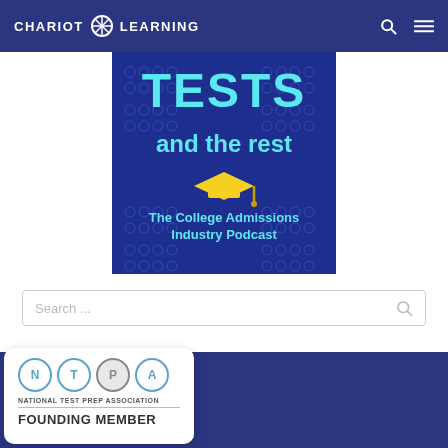CHARIOT LEARNING
[Figure (illustration): Podcast cover art for 'TESTS and the rest - The College Admissions Industry Podcast' on dark blue background with bubble answer sheet pattern and graduation cap icon]
Search ...
[Figure (logo): National Test Prep Association logo with N T P A circles and FOUNDING MEMBER text]